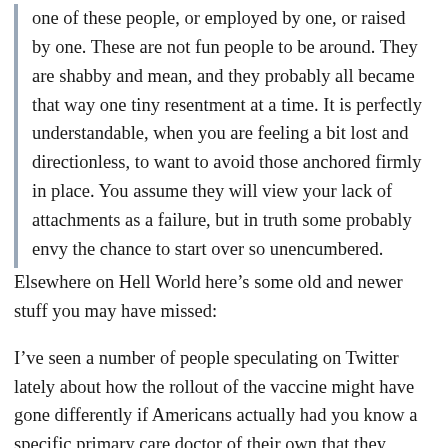one of these people, or employed by one, or raised by one. These are not fun people to be around. They are shabby and mean, and they probably all became that way one tiny resentment at a time. It is perfectly understandable, when you are feeling a bit lost and directionless, to want to avoid those anchored firmly in place. You assume they will view your lack of attachments as a failure, but in truth some probably envy the chance to start over so unencumbered.
Elsewhere on Hell World here’s some old and newer stuff you may have missed:
I’ve seen a number of people speculating on Twitter lately about how the rollout of the vaccine might have gone differently if Americans actually had you know a specific primary care doctor of their own that they